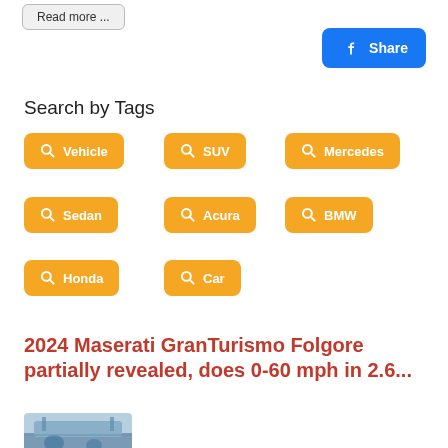Read more ...
Share
Search by Tags
Vehicle
SUV
Mercedes
Sedan
Acura
BMW
Honda
Car
2024 Maserati GranTurismo Folgore partially revealed, does 0-60 mph in 2.6...
[Figure (photo): Thumbnail image of Maserati GranTurismo Folgore car]